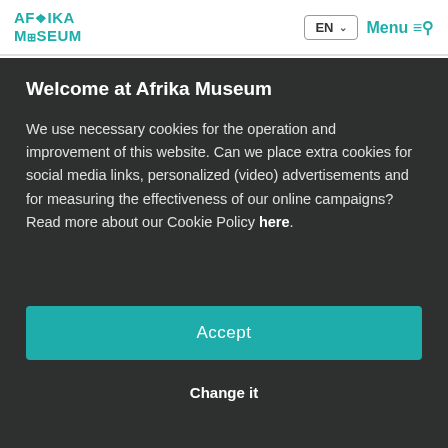AFRIKA MUSEUM  EN  Menu
Welcome at Afrika Museum
We use necessary cookies for the operation and improvement of this website. Can we place extra cookies for social media links, personalized (video) advertisements and for measuring the effectiveness of our online campaigns? Read more about our Cookie Policy here.
Accept
Change it